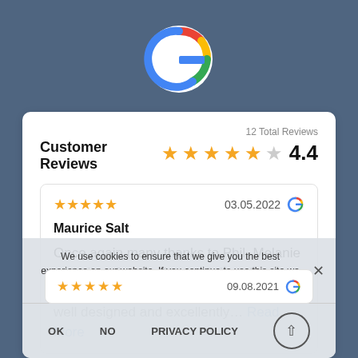[Figure (logo): Google 'G' logo in multicolor (red, yellow, green, blue) on blue-grey background]
Customer Reviews
12 Total Reviews
4.4 stars rating
[Figure (other): Review card: 5 stars, date 03.05.2022, Google logo, reviewer Maurice Salt, review text: Once again many thanks to Phil, Melanie and all at Oceans for the fitting of our new Cloakroom. As always everything is well designed and excellently... Read More]
We use cookies to ensure that we give you the best experience on our website. If you continue to use this site we will assume that you are happy with it.
OK   NO   PRIVACY POLICY
5 stars  09.08.2021  Google logo